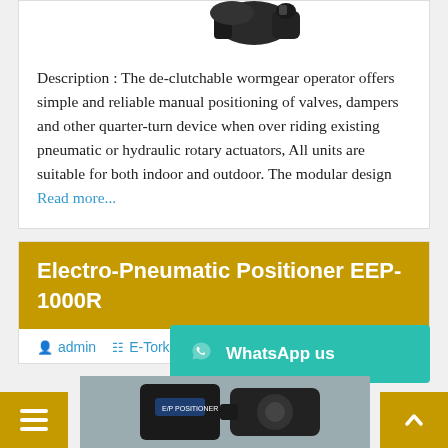[Figure (photo): Product photo of a de-clutchable wormgear operator/actuator device, partially visible at top]
Description : The de-clutchable wormgear operator offers simple and reliable manual positioning of valves, dampers and other quarter-turn device when over riding existing pneumatic or hydraulic rotary actuators, All units are suitable for both indoor and outdoor. The modular design Read more...
Electro-Pneumatic Positioner EEP-1000R
admin  E-Tork  Augu...
[Figure (photo): Product photo of Electro-Pneumatic Positioner EEP-1000R, partially visible at bottom of page]